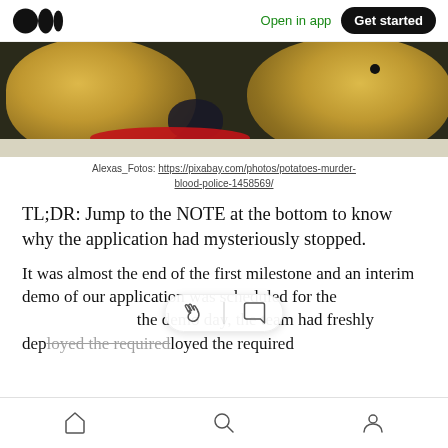Medium logo | Open in app | Get started
[Figure (photo): Two potatoes on a surface with red liquid (blood) between them, shot from low angle on a light floor]
Alexas_Fotos: https://pixabay.com/photos/potatoes-murder-blood-police-1458569/
TL;DR: Jump to the NOTE at the bottom to know why the application had mysteriously stopped.
It was almost the end of the first milestone and an interim demo of our application was scheduled for the … the demo day, the team had freshly deployed the required
Home | Search | Profile